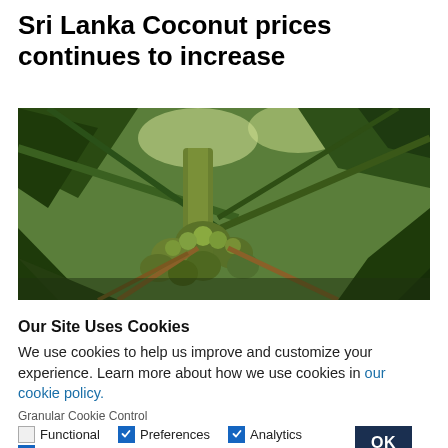Sri Lanka Coconut prices continues to increase
[Figure (photo): Looking up at a coconut palm tree from below, showing clusters of green coconuts and palm fronds against bright sky]
Our Site Uses Cookies
We use cookies to help us improve and customize your experience. Learn more about how we use cookies in our cookie policy.
Granular Cookie Control
Functional  Preferences  Analytics  Marketing  OK